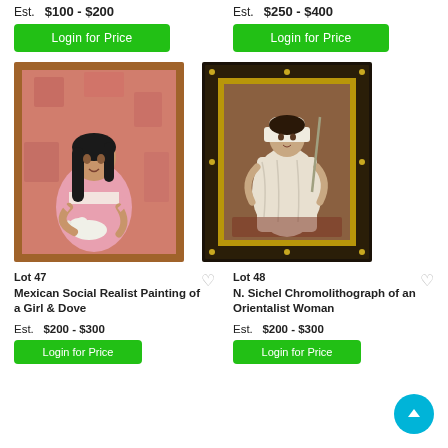Est.  $100 - $200
Login for Price
Est.  $250 - $400
Login for Price
[Figure (photo): Painting of a girl in a pink dress with long black hair, holding a white dove, in a wooden frame. Mexican Social Realist style.]
[Figure (photo): Chromolithograph of an Orientalist woman seated, in an ornate gold and black frame.]
Lot 47
Mexican Social Realist Painting of a Girl & Dove
Est.  $200 - $300
Login for Price
Lot 48
N. Sichel Chromolithograph of an Orientalist Woman
Est.  $200 - $300
Login for Price